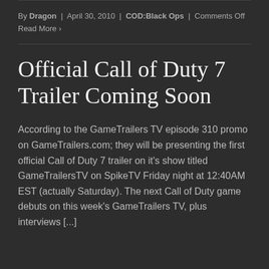By Dragon | April 30, 2010 | COD:Black Ops | Comments Off
Read More ›
Official Call of Duty 7 Trailer Coming Soon
According to the GameTrailers TV episode 310 promo on GameTrailers.com; they will be presenting the first official Call of Duty 7 trailer on it's show titled GameTrailersTV on SpikeTV Friday night at 12:40AM EST (actually Saturday). The next Call of Duty game debuts on this week's GameTrailers TV, plus interviews [...]